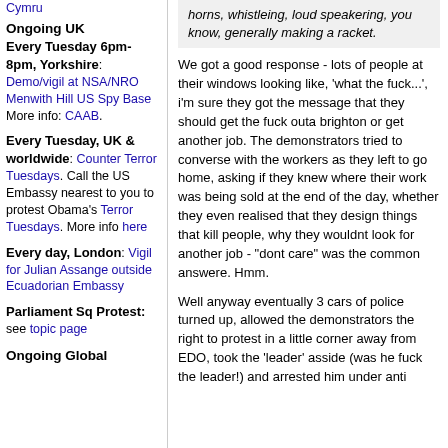Cymru
Ongoing UK
Every Tuesday 6pm-8pm, Yorkshire: Demo/vigil at NSA/NRO Menwith Hill US Spy Base More info: CAAB.
Every Tuesday, UK & worldwide: Counter Terror Tuesdays. Call the US Embassy nearest to you to protest Obama's Terror Tuesdays. More info here
Every day, London: Vigil for Julian Assange outside Ecuadorian Embassy
Parliament Sq Protest: see topic page
Ongoing Global
horns, whistleing, loud speakering, you know, generally making a racket.
We got a good response - lots of people at their windows looking like, 'what the fuck...', i'm sure they got the message that they should get the fuck outa brighton or get another job. The demonstrators tried to converse with the workers as they left to go home, asking if they knew where their work was being sold at the end of the day, whether they even realised that they design things that kill people, why they wouldnt look for another job - "dont care" was the common answere. Hmm.
Well anyway eventually 3 cars of police turned up, allowed the demonstrators the right to protest in a little corner away from EDO, took the 'leader' asside (was he fuck the leader!) and arrested him under anti